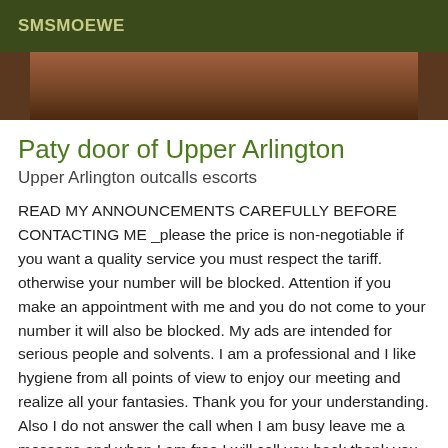SMSMOEWE
[Figure (photo): Cropped photo strip showing a person, mostly obscured, brown/dark tones]
Paty door of Upper Arlington
Upper Arlington outcalls escorts
READ MY ANNOUNCEMENTS CAREFULLY BEFORE CONTACTING ME _please the price is non-negotiable if you want a quality service you must respect the tariff. otherwise your number will be blocked. Attention if you make an appointment with me and you do not come to your number it will also be blocked. My ads are intended for serious people and solvents. I am a professional and I like hygiene from all points of view to enjoy our meeting and realize all your fantasies. Thank you for your understanding. Also I do not answer the call when I am busy leave me a message and when I am free I will call you back thank you. Hello my loves I'm PATRICIA charming transsexual, my photos are 100% real I am very well made a beautiful chest at your disposal and the